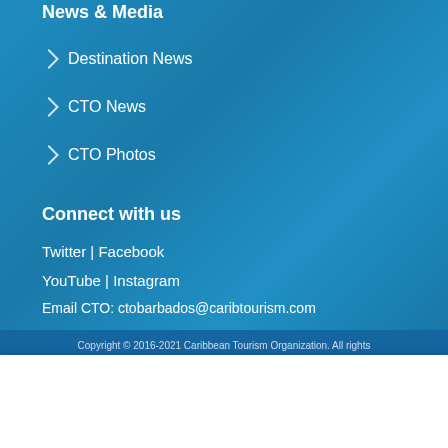News & Media
Destination News
CTO News
CTO Photos
Connect with us
Twitter | Facebook
YouTube | Instagram
Email CTO: ctobarbados@caribtourism.com
Copyright © 2016-2021 Caribbean Tourism Organization. All rights
This website uses cookies to improve your experience. We'll assume you're ok with this, but you can opt-out if you wish.
Accept
Read about the CTO privacy policy and cookies.